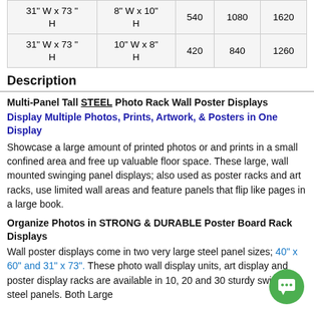|  |  | 1200 | 2400 | 3600 |
| --- | --- | --- | --- | --- |
| 31" W x 73" H | 8" W x 10" H | 540 | 1080 | 1620 |
| 31" W x 73" H | 10" W x 8" H | 420 | 840 | 1260 |
Description
Multi-Panel Tall STEEL Photo Rack Wall Poster Displays
Display Multiple Photos, Prints, Artwork, & Posters in One Display
Showcase a large amount of printed photos or and prints in a small confined area and free up valuable floor space. These large, wall mounted swinging panel displays; also used as poster racks and art racks, use limited wall areas and feature panels that flip like pages in a large book.
Organize Photos in STRONG & DURABLE Poster Board Rack Displays
Wall poster displays come in two very large steel panel sizes; 40" x 60" and 31" x 73". These photo wall display units, art display and poster display racks are available in 10, 20 and 30 sturdy swinging steel panels. Both Large